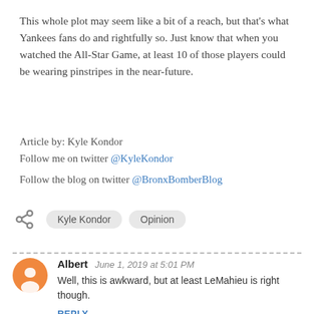This whole plot may seem like a bit of a reach, but that's what Yankees fans do and rightfully so. Just know that when you watched the All-Star Game, at least 10 of those players could be wearing pinstripes in the near-future.
Article by: Kyle Kondor
Follow me on twitter @KyleKondor
Follow the blog on twitter @BronxBomberBlog
Kyle Kondor  Opinion
Albert  June 1, 2019 at 5:01 PM
Well, this is awkward, but at least LeMahieu is right though.
REPLY